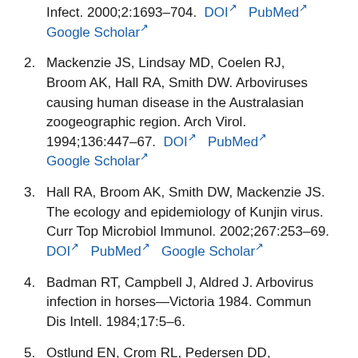Infect. 2000;2:1693–704. DOI PubMed Google Scholar
2. Mackenzie JS, Lindsay MD, Coelen RJ, Broom AK, Hall RA, Smith DW. Arboviruses causing human disease in the Australasian zoogeographic region. Arch Virol. 1994;136:447–67. DOI PubMed Google Scholar
3. Hall RA, Broom AK, Smith DW, Mackenzie JS. The ecology and epidemiology of Kunjin virus. Curr Top Microbiol Immunol. 2002;267:253–69. DOI PubMed Google Scholar
4. Badman RT, Campbell J, Aldred J. Arbovirus infection in horses—Victoria 1984. Commun Dis Intell. 1984;17:5–6.
5. Ostlund EN, Crom RL, Pedersen DD, Johnson DJ, Williams WO, Schmitt BJ. Equine West Nile...